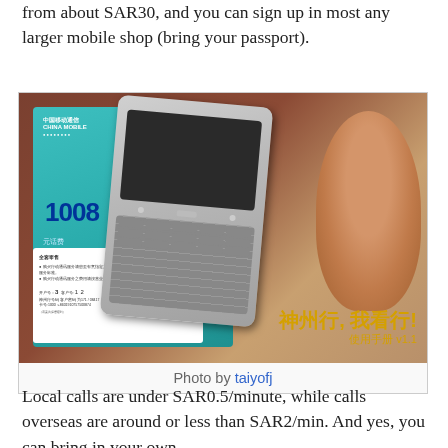from about SAR30, and you can sign up in most any larger mobile shop (bring your passport).
[Figure (photo): A Nokia E61 smartphone resting on top of a China Mobile SIM card package (teal/turquoise brochure with Chinese text '神州行, 我看行! 使用手册' and a man's face visible on the right side of the brochure). The phone has a full QWERTY keyboard.]
Photo by taiyofj
Local calls are under SAR0.5/minute, while calls overseas are around or less than SAR2/min. And yes, you can bring in your own